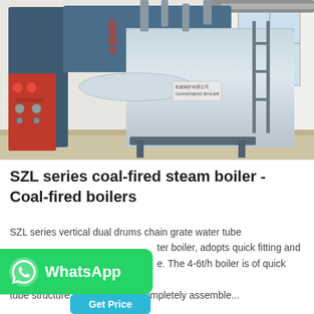[Figure (photo): Industrial SZL series coal-fired steam boiler installed in a factory building. The large blue-grey boiler with horizontal drum, piping, and metallic structure is visible. Chinese manufacturer logo/branding on the boiler.]
SZL series coal-fired steam boiler - Coal-fired boilers
SZL series vertical dual drums chain grate water tube ter boiler, adopts quick fitting and e. The 4-6t/h boiler is of quick fitting tube structure, exit shop after completely assemble...
[Figure (other): WhatsApp contact button - green button with WhatsApp logo icon and 'WhatsApp' label]
[Figure (other): Get Price button - light blue button with 'Get Price' text]